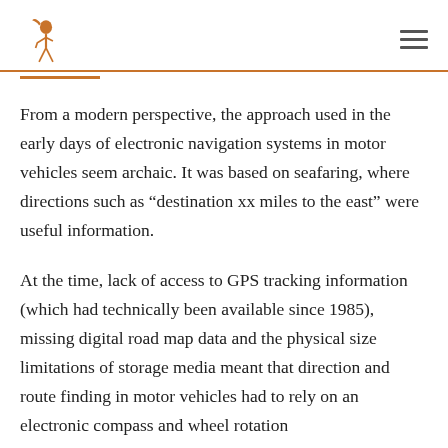[Logo and navigation hamburger menu]
From a modern perspective, the approach used in the early days of electronic navigation systems in motor vehicles seem archaic. It was based on seafaring, where directions such as “destination xx miles to the east” were useful information.
At the time, lack of access to GPS tracking information (which had technically been available since 1985), missing digital road map data and the physical size limitations of storage media meant that direction and route finding in motor vehicles had to rely on an electronic compass and wheel rotation